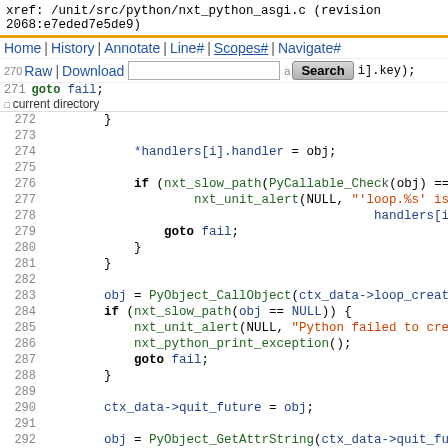xref: /unit/src/python/nxt_python_asgi.c (revision 2068:e7eded7e5de9)
[Figure (screenshot): Source code navigation bar with Home, History, Annotate, Line#, Scopes#, Navigate#, Raw, Download links and a Search input field]
Source code listing lines 270-294 of nxt_python_asgi.c showing C code with goto fail, handlers[i].handler, nxt_slow_path, PyCallable_Check, nxt_unit_alert, PyObject_CallObject, nxt_python_print_exception, ctx_data->quit_future, PyObject_GetAttrString calls